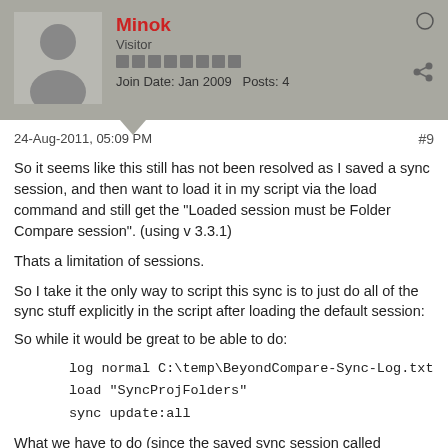[Figure (illustration): Forum user profile header with avatar silhouette, username Minok in red, Visitor rank, rank bar icons, Join Date Jan 2009, Posts 4, share icon, and online status circle]
24-Aug-2011, 05:09 PM
#9
So it seems like this still has not been resolved as I saved a sync session, and then want to load it in my script via the load command and still get the "Loaded session must be Folder Compare session". (using v 3.3.1)
Thats a limitation of sessions.
So I take it the only way to script this sync is to just do all of the sync stuff explicitly in the script after loading the default session:
So while it would be great to be able to do:
log normal C:\temp\BeyondCompare-Sync-Log.txt
load "SyncProjFolders"
sync update:all
What we have to do (since the saved sync session called SyncProjFolders is a sync session).. is use the default session and explicitly define the stuff that would have been saved in the session:
log normal C:\temp\BeyondCompare-Sync-Log.txt